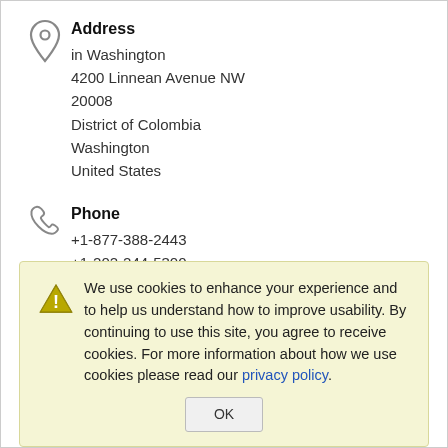Address
in Washington
4200 Linnean Avenue NW
20008
District of Colombia
Washington
United States
Phone
+1-877-388-2443
+1-202-244-5300
Fax
+1-202-362-3430
We use cookies to enhance your experience and to help us understand how to improve usability. By continuing to use this site, you agree to receive cookies. For more information about how we use cookies please read our privacy policy.